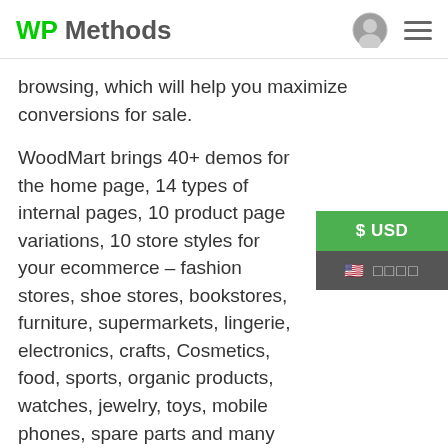WP Methods
browsing, which will help you maximize conversions for sale.
WoodMart brings 40+ demos for the home page, 14 types of internal pages, 10 product page variations, 10 store styles for your ecommerce – fashion stores, shoe stores, bookstores, furniture, supermarkets, lingerie, electronics, crafts, Cosmetics, food, sports, organic products, watches, jewelry, toys, mobile phones, spare parts and many more.
[Figure (screenshot): Currency selector overlay showing $ USD button (green) and a dark language selector button with flag icon]
It offers a multitude of features and advanced features that will make your online store offer a modern online shopping platform with color and image selector for the variations of your